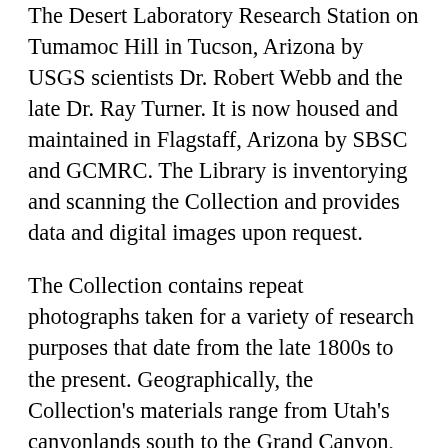The Desert Laboratory Research Station on Tumamoc Hill in Tucson, Arizona by USGS scientists Dr. Robert Webb and the late Dr. Ray Turner. It is now housed and maintained in Flagstaff, Arizona by SBSC and GCMRC. The Library is inventorying and scanning the Collection and provides data and digital images upon request.
The Collection contains repeat photographs taken for a variety of research purposes that date from the late 1800s to the present. Geographically, the Collection's materials range from Utah's canyonlands south to the Grand Canyon, Sonoran Desert and borderlands of Arizona and Mexico, as well some images from Kenya, in eastern Africa. Permanent 'stake' numbers were assigned to each location, or photo collection point. The Library stores the film and any field notes associated with each stake location in a secure environment. There are approximately 5200 stake folders in the